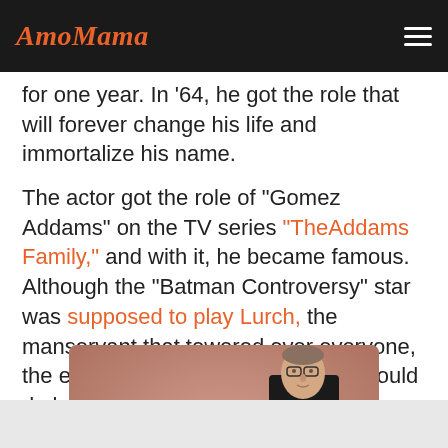AmoMama
for one year. In '64, he got the role that will forever change his life and immortalize his name.
The actor got the role of "Gomez Addams" on the TV series "TheAddams Family," and with it, he became famous. Although the "Batman Controversy" star was supposed to play Lurch, the manservant that towered over everyone, the executive producer thought he would do better as the patriarch of "The Addams Family."
[Figure (photo): Group photo showing three people: a tall man in a tuxedo with a bow tie in the center-right, a bald shorter man on the left, and a blonde woman in the middle, against a pink/rose background.]